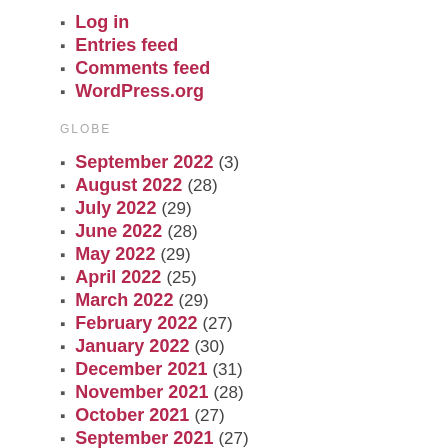Log in
Entries feed
Comments feed
WordPress.org
GLOBE
September 2022 (3)
August 2022 (28)
July 2022 (29)
June 2022 (28)
May 2022 (29)
April 2022 (25)
March 2022 (29)
February 2022 (27)
January 2022 (30)
December 2021 (31)
November 2021 (28)
October 2021 (27)
September 2021 (27)
August 2021 (27)
July 2021 (25)